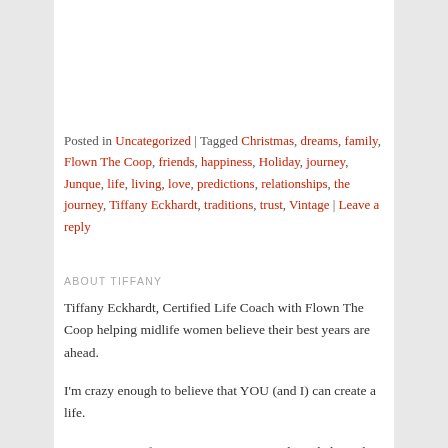Posted in Uncategorized | Tagged Christmas, dreams, family, Flown The Coop, friends, happiness, Holiday, journey, Junque, life, living, love, predictions, relationships, the journey, Tiffany Eckhardt, traditions, trust, Vintage | Leave a reply
ABOUT TIFFANY
Tiffany Eckhardt, Certified Life Coach with Flown The Coop helping midlife women believe their best years are ahead.
I'm crazy enough to believe that YOU (and I) can create a life.
I am a master of reinventing my story and am dedicated to those who can't be caged.